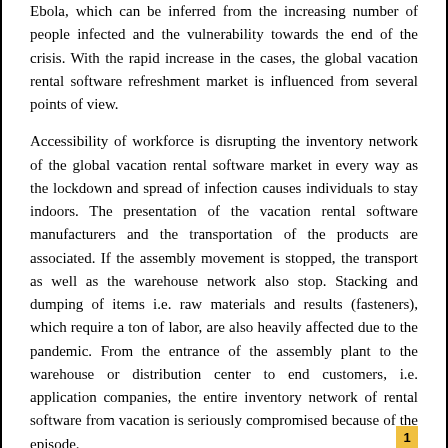Ebola, which can be inferred from the increasing number of people infected and the vulnerability towards the end of the crisis. With the rapid increase in the cases, the global vacation rental software refreshment market is influenced from several points of view.
Accessibility of workforce is disrupting the inventory network of the global vacation rental software market in every way as the lockdown and spread of infection causes individuals to stay indoors. The presentation of the vacation rental software manufacturers and the transportation of the products are associated. If the assembly movement is stopped, the transport as well as the warehouse network also stop. Stacking and dumping of items i.e. raw materials and results (fasteners), which require a ton of labor, are also heavily affected due to the pandemic. From the entrance of the assembly plant to the warehouse or distribution center to end customers, i.e. application companies, the entire inventory network of rental software from vacation is seriously compromised because of the episode.
The research provides answers to the following key questions: